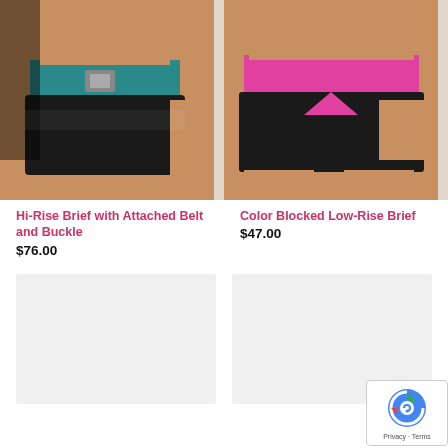[Figure (photo): Model wearing Hi-Rise Brief with Attached Belt and Buckle in black and teal]
[Figure (photo): Model wearing Color Blocked Low-Rise Brief in black and pink]
Hi-Rise Brief with Attached Belt and Buckle
$76.00
Color Blocked Low-Rise Brief
$47.00
[Figure (photo): Product image placeholder (light gray)]
[Figure (photo): Product image placeholder with reCAPTCHA badge]
Privacy · Terms